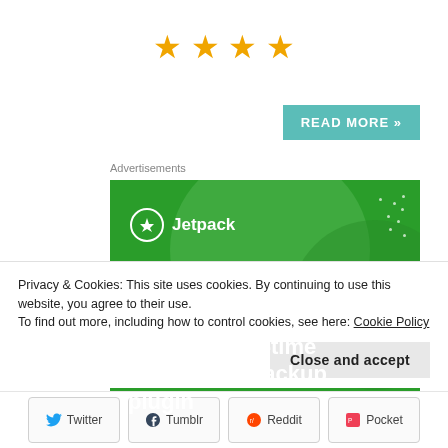[Figure (other): Four orange star rating symbols]
[Figure (other): Teal READ MORE button]
Advertisements
[Figure (illustration): Jetpack advertisement banner: green background with circle decorations, Jetpack logo top-left, text 'The best real-time WordPress backup plugin']
Privacy & Cookies: This site uses cookies. By continuing to use this website, you agree to their use.
To find out more, including how to control cookies, see here: Cookie Policy
[Figure (other): Close and accept button]
[Figure (other): Share buttons: Twitter, Tumblr, Reddit, Pocket]